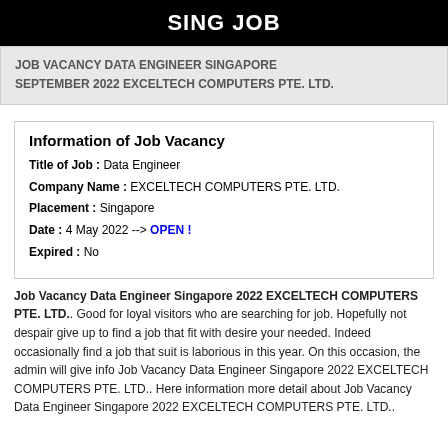SING JOB
JOB VACANCY DATA ENGINEER SINGAPORE SEPTEMBER 2022 EXCELTECH COMPUTERS PTE. LTD.
Information of Job Vacancy
Title of Job : Data Engineer
Company Name : EXCELTECH COMPUTERS PTE. LTD.
Placement : Singapore
Date : 4 May 2022 --> OPEN !
Expired : No
Job Vacancy Data Engineer Singapore 2022 EXCELTECH COMPUTERS PTE. LTD.. Good for loyal visitors who are searching for job. Hopefully not despair give up to find a job that fit with desire your needed. Indeed occasionally find a job that suit is laborious in this year. On this occasion, the admin will give info Job Vacancy Data Engineer Singapore 2022 EXCELTECH COMPUTERS PTE. LTD.. Here information more detail about Job Vacancy Data Engineer Singapore 2022 EXCELTECH COMPUTERS PTE. LTD..